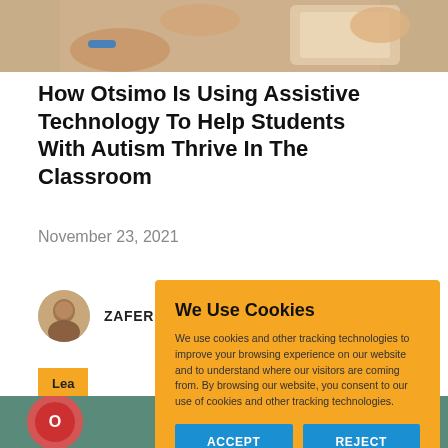[Figure (photo): Top portion of a photo showing hands using a tablet/device, cropped at top of page]
How Otsimo Is Using Assistive Technology To Help Students With Autism Thrive In The Classroom
November 23, 2021
ZAFER ELCIK
Lea
[Figure (infographic): Cookie consent overlay with title 'We Use Cookies', body text about cookies, and two buttons: ACCEPT and REJECT]
We Use Cookies
We use cookies and other tracking technologies to improve your browsing experience on our website and to understand where our visitors are coming from. By browsing our website, you consent to our use of cookies and other tracking technologies.
ACCEPT
REJECT